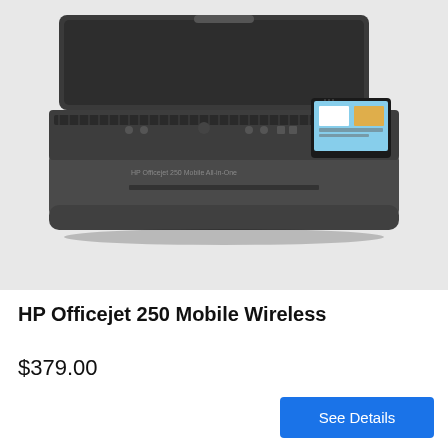[Figure (photo): HP Officejet 250 Mobile Wireless all-in-one printer shown with lid open, small color display on the right side, dark gray body, on a light gray background]
HP Officejet 250 Mobile Wireless
$379.00
See Details